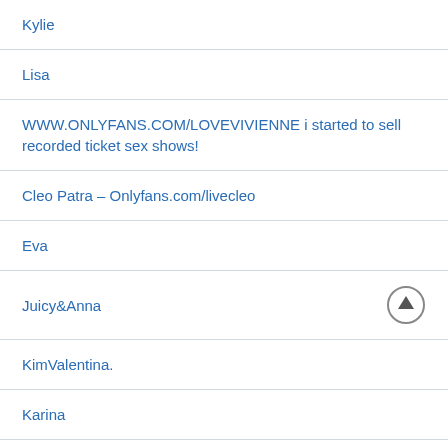Kylie
Lisa
WWW.ONLYFANS.COM/LOVEVIVIENNE i started to sell recorded ticket sex shows!
Cleo Patra – Onlyfans.com/livecleo
Eva
Juicy&Anna
KimValentina.
Karina